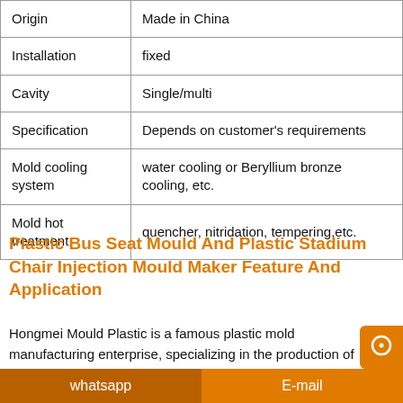| Origin | Made in China |
| Installation | fixed |
| Cavity | Single/multi |
| Specification | Depends on customer's requirements |
| Mold cooling system | water cooling or Beryllium bronze cooling, etc. |
| Mold hot treatment | quencher, nitridation, tempering,etc. |
Plastic Bus Seat Mould And Plastic Stadium Chair Injection Mould Maker Feature And Application
Hongmei Mould Plastic is a famous plastic mold manufacturing enterprise, specializing in the production of various high efficiency, high difficulty, high precision plastic mold enterprises. It is not only a professional plastic mold
whatsapp    E-mail